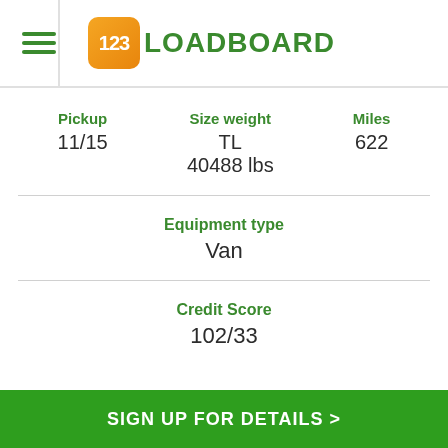123LOADBOARD
| Pickup | Size weight | Miles |
| --- | --- | --- |
| 11/15 | TL
40488 lbs | 622 |
Equipment type
Van
Credit Score
102/33
SIGN UP FOR DETAILS >